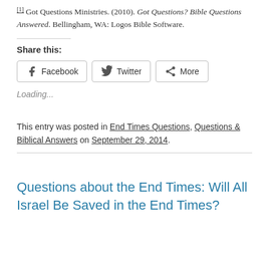[1] Got Questions Ministries. (2010). Got Questions? Bible Questions Answered. Bellingham, WA: Logos Bible Software.
Share this:
[Figure (other): Social share buttons: Facebook, Twitter, More]
Loading...
This entry was posted in End Times Questions, Questions & Biblical Answers on September 29, 2014.
Questions about the End Times: Will All Israel Be Saved in the End Times?